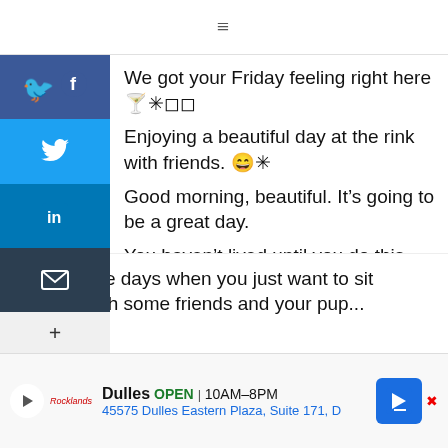≡
We got your Friday feeling right here 🍹✳️🔲🔲
Enjoying a beautiful day at the rink with friends. 😁✳️
Good morning, beautiful. It's going to be a great day.
You haven't lived until you do this 🔲🔲😎 love_nyc ✳️ #FoodieTrip
For those days when you just want to sit outside with some friends and your pup...
Dulles OPEN 10AM–8PM 45575 Dulles Eastern Plaza, Suite 171, D